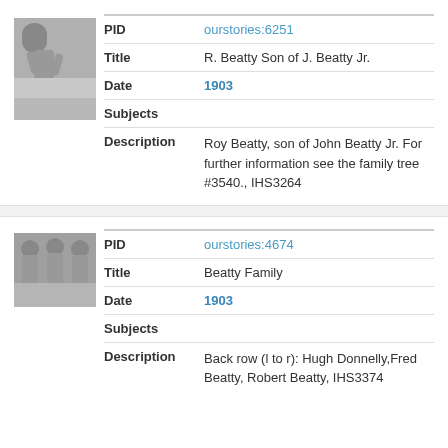[Figure (photo): Black and white photograph of a young man standing outdoors]
| Field | Value |
| --- | --- |
| PID | ourstories:6251 |
| Title | R. Beatty Son of J. Beatty Jr. |
| Date | 1903 |
| Subjects |  |
| Description | Roy Beatty, son of John Beatty Jr. For further information see the family tree #3540., IHS3264 |
[Figure (photo): Black and white photograph of a family group]
| Field | Value |
| --- | --- |
| PID | ourstories:4674 |
| Title | Beatty Family |
| Date | 1903 |
| Subjects |  |
| Description | Back row (l to r): Hugh Donnelly,Fred Beatty, Robert Beatty, IHS3374 |